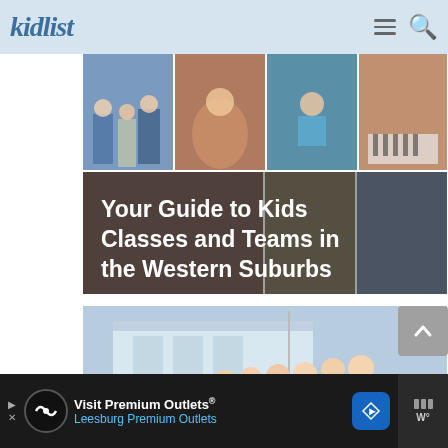kidlist
[Figure (photo): Collage of children in various classes and activities: choir, dance, gymnastics, piano. Bottom half shows overlaid text 'Your Guide to Kids Classes and Teams in the Western Suburbs' on activity photos.]
Your Guide to Kids Classes and Teams in the Western Suburbs
[Figure (photo): Group of young children standing in front of a building outdoors on a sunny day.]
Visit Premium Outlets® Leesburg Premium Outlets